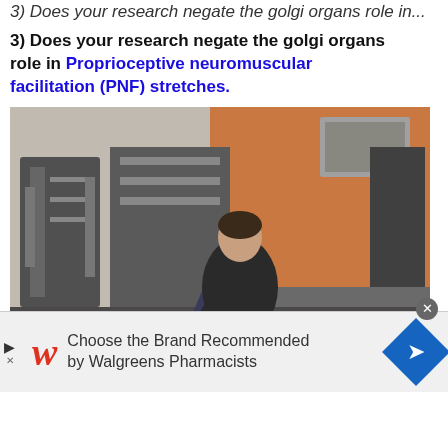3) Does your research negate the golgi organs role in Proprioceptive neuromuscular facilitation (PNF) stretches.
[Figure (photo): Two people in a gym performing a PNF stretching exercise. One person lies on a black mat on the floor while a trainer in a black shirt assists with a leg stretch. Gym equipment visible in background.]
Choose the Brand Recommended by Walgreens Pharmacists